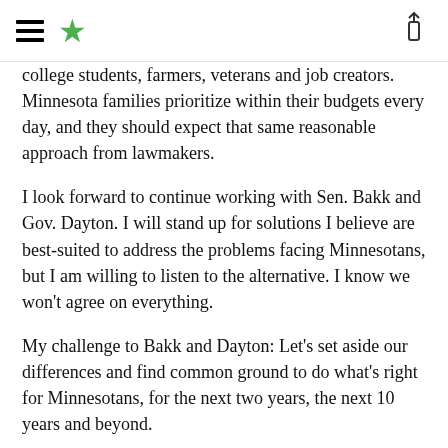[hamburger menu] [star logo] [share icon]
college students, farmers, veterans and job creators. Minnesota families prioritize within their budgets every day, and they should expect that same reasonable approach from lawmakers.
I look forward to continue working with Sen. Bakk and Gov. Dayton. I will stand up for solutions I believe are best-suited to address the problems facing Minnesotans, but I am willing to listen to the alternative. I know we won’t agree on everything.
My challenge to Bakk and Dayton: Let’s set aside our differences and find common ground to do what’s right for Minnesotans, for the next two years, the next 10 years and beyond.
Kurt Daudt, R-Crown, is speaker of the Minnesota House.
0  SHOW COMMENTS